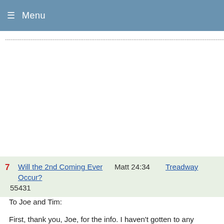≡ Menu
--------------------------------------------------------------------------------
7  Will the 2nd Coming Ever Occur?  Matt 24:34  Treadway  55431
To Joe and Tim:
First, thank you, Joe, for the info. I haven't gotten to any